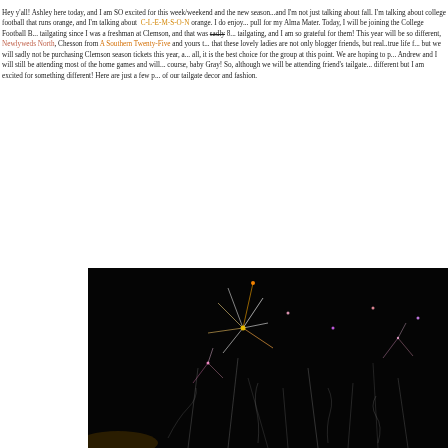Hey y'all! Ashley here today, and I am SO excited for this week/weekend and the new season...and I'm not just talking about fall. I'm talking about college football that runs orange, and I'm talking about C-L-E-M-S-O-N orange. I do enjoy... pull for my Alma Mater. Today, I will be joining the College Football Bloggers for tailgating since I was a freshman at Clemson, and that was sadly 8... tailgating, and I am so grateful for them! This year will be so different, Newlyweds North, Chesson from A Southern Twenty-Five and yours truly... that these lovely ladies are not only blogger friends, but real..true life f... but we will sadly not be purchasing Clemson season tickets this year, a... all, it is the best choice for the group at this point. We are hoping to p... Andrew and I will still be attending most of the home games and will... course, baby Gray! So, although we will be attending friend's tailgate... different but I am excited for something different! Here are just a few p... of our tailgate decor and fashion.
[Figure (photo): Night photo of fireworks sparkling against a dark sky, with glowing streaks and light bursts in orange, pink, and white colors.]